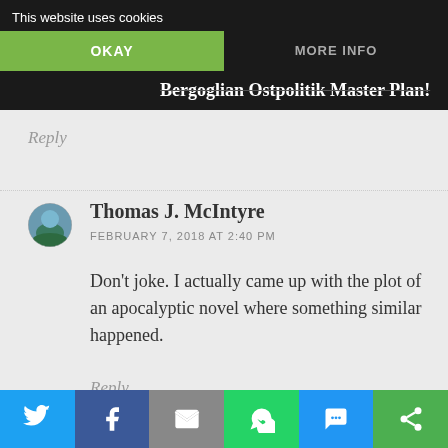This website uses cookies
OKAY
MORE INFO
e wins for the inscrutable
Bergoglian Ostpolitik Master Plan!
Reply
Thomas J. McIntyre
FEBRUARY 7, 2018 AT 2:40 PM
Don't joke. I actually came up with the plot of an apocalyptic novel where something similar happened.
Reply
[Figure (illustration): Social share bar with icons: Twitter (blue), Facebook (dark blue), Email (gray), WhatsApp (green), SMS (blue), Share (green)]